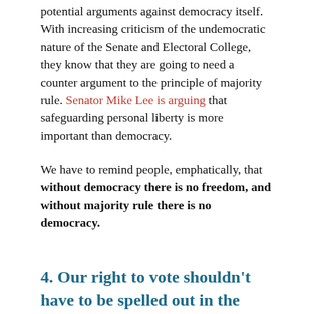potential arguments against democracy itself. With increasing criticism of the undemocratic nature of the Senate and Electoral College, they know that they are going to need a counter argument to the principle of majority rule. Senator Mike Lee is arguing that safeguarding personal liberty is more important than democracy.
We have to remind people, emphatically, that without democracy there is no freedom, and without majority rule there is no democracy.
4. Our right to vote shouldn't have to be spelled out in the constitution. This is a democracy. The right to vote should be self-evident and inalienable. If you make it so people can't exercise that right by casting their vote, you are violating their